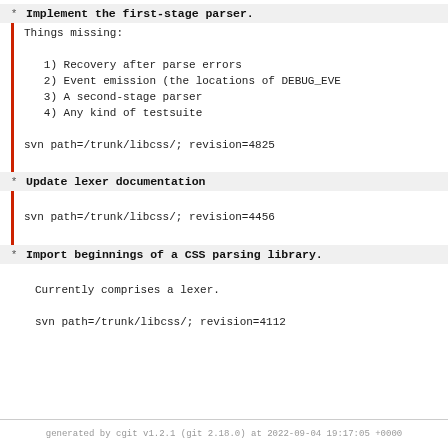Implement the first-stage parser.
Things missing:

   1) Recovery after parse errors
   2) Event emission (the locations of DEBUG_EVE
   3) A second-stage parser
   4) Any kind of testsuite

svn path=/trunk/libcss/; revision=4825
Update lexer documentation
svn path=/trunk/libcss/; revision=4456
Import beginnings of a CSS parsing library.
Currently comprises a lexer.

svn path=/trunk/libcss/; revision=4112
generated by cgit v1.2.1 (git 2.18.0) at 2022-09-04 19:17:05 +0000